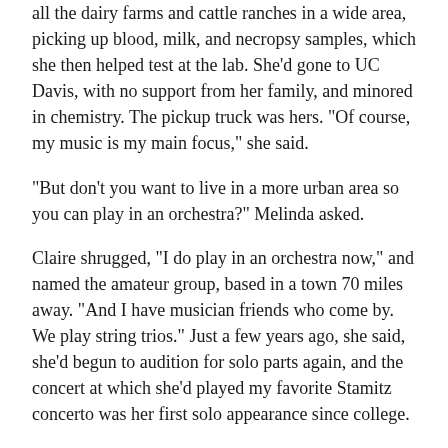all the dairy farms and cattle ranches in a wide area, picking up blood, milk, and necropsy samples, which she then helped test at the lab. She'd gone to UC Davis, with no support from her family, and minored in chemistry. The pickup truck was hers. "Of course, my music is my main focus," she said.
"But don't you want to live in a more urban area so you can play in an orchestra?" Melinda asked.
Claire shrugged, "I do play in an orchestra now," and named the amateur group, based in a town 70 miles away. "And I have musician friends who come by. We play string trios." Just a few years ago, she said, she'd begun to audition for solo parts again, and the concert at which she'd played my favorite Stamitz concerto was her first solo appearance since college.
"You have to play for us!" Melinda exclaimed. "We want to see your beautiful cello!"
"Uhh, okay, maybe after lunch," she said. "I don't know, I'm